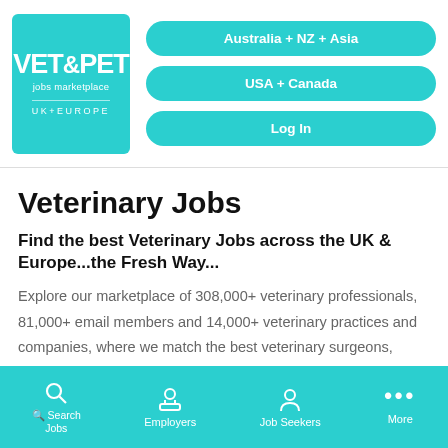[Figure (logo): VET&PET jobs marketplace UK+EUROPE logo in teal square]
[Figure (screenshot): Navigation buttons: Australia + NZ + Asia, USA + Canada, Log In]
Veterinary Jobs
Find the best Veterinary Jobs across the UK & Europe...the Fresh Way...
Explore our marketplace of 308,000+ veterinary professionals, 81,000+ email members and 14,000+ veterinary practices and companies, where we match the best veterinary surgeons, veterinary nurses, technicians
Search Jobs | Employers | Job Seekers | More